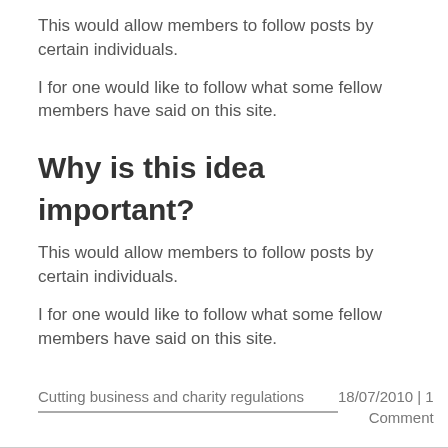This would allow members to follow posts by certain individuals.
I for one would like to follow what some fellow members have said on this site.
Why is this idea important?
This would allow members to follow posts by certain individuals.
I for one would like to follow what some fellow members have said on this site.
Cutting business and charity regulations | 18/07/2010 | 1 Comment